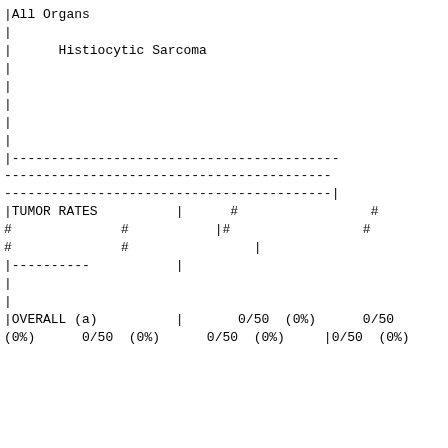| |All Organs |  |  |  |  |
| | |  |  |  |  |
| |      Histiocytic Sarcoma |  |  |  |  |
| | |  |  |  |  |
| | |  |  |  |  |
| | |  |  |  |  |
| | |  |  |  |  |
| | |  |  |  |  |
| |-----------------------------... |  |  |  |  |
| ------------------------------... |  |  |  |  |
| ------------------------------...| |  |  |  |  |
| |TUMOR RATES         |      #                 # |  |  |  |  |
| #              #           |#                 # |  |  |  |  |
| #              #                | |  |  |  |  |
| |----------           | |  |  |  |  |
| | |  |  |  |  |
| | |  |  |  |  |
| |OVERALL (a)         |       0/50  (0%)      0/50 |  |  |  |  |
| (0%)      0/50  (0%)      0/50  (0%)     |0/50  (0%) |  |  |  |  |